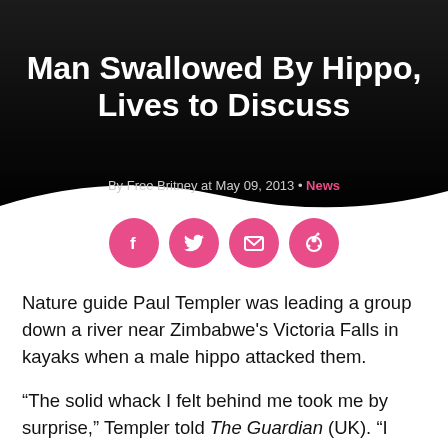[Figure (photo): Dark hero background image with darkened overlay, appears to show a blurred dark scene]
Man Swallowed By Hippo, Lives to Discuss
By Free Britney at May 09, 2013 • News
[Figure (infographic): Four pink circular social share buttons: Facebook (f), Twitter (bird), Email (envelope), Reddit (alien)]
Nature guide Paul Templer was leading a group down a river near Zimbabwe's Victoria Falls in kayaks when a male hippo attacked them.
“The solid whack I felt behind me took me by surprise,” Templer told The Guardian (UK). “I turned just in time to see [apprentice] Evans.”